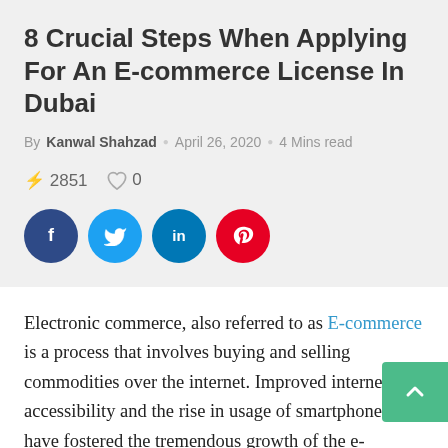8 Crucial Steps When Applying For An E-commerce License In Dubai
By Kanwal Shahzad · April 26, 2020 · 4 Mins read
⚡ 2851  ♡ 0
[Figure (infographic): Social share buttons: Facebook (dark blue circle), Twitter (light blue circle), LinkedIn (blue circle), Pinterest (red circle)]
Electronic commerce, also referred to as E-commerce is a process that involves buying and selling commodities over the internet. Improved internet accessibility and the rise in usage of smartphones have fostered the tremendous growth of the e-commerce industry. Most